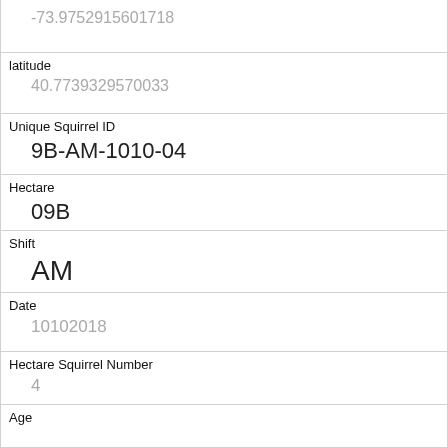| -73.9752915601718 |
| latitude | 40.7739329570033 |
| Unique Squirrel ID | 9B-AM-1010-04 |
| Hectare | 09B |
| Shift | AM |
| Date | 10102018 |
| Hectare Squirrel Number | 4 |
| Age |  |
| Primary Fur Color |  |
| Highlight Fur Color |  |
| Combination of Primary and Highlight Color |  |